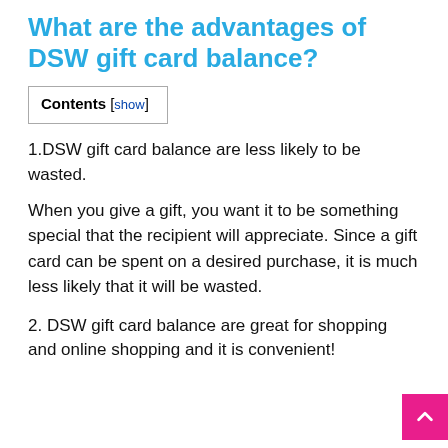What are the advantages of DSW gift card balance?
1.DSW gift card balance are less likely to be wasted.
When you give a gift, you want it to be something special that the recipient will appreciate. Since a gift card can be spent on a desired purchase, it is much less likely that it will be wasted.
2. DSW gift card balance are great for shopping and online shopping and it is convenient!